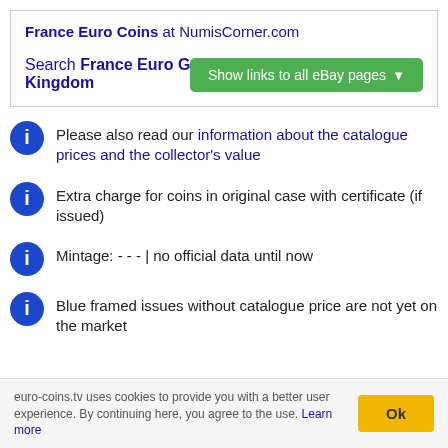France Euro Coins at NumisCorner.com
Search France Euro Gold Coins on eBay United Kingdom
Show links to all eBay pages
Please also read our information about the catalogue prices and the collector's value
Extra charge for coins in original case with certificate (if issued)
Mintage: - - - | no official data until now
Blue framed issues without catalogue price are not yet on the market
euro-coins.tv uses cookies to provide you with a better user experience. By continuing here, you agree to the use. Learn more
Ok